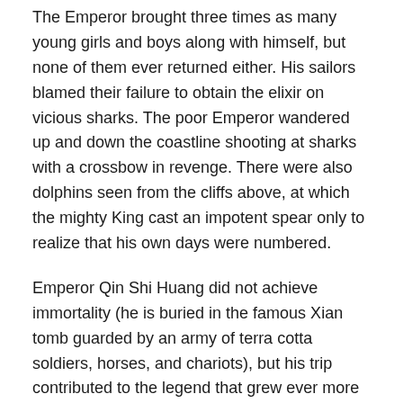The Emperor brought three times as many young girls and boys along with himself, but none of them ever returned either. His sailors blamed their failure to obtain the elixir on vicious sharks. The poor Emperor wandered up and down the coastline shooting at sharks with a crossbow in revenge. There were also dolphins seen from the cliffs above, at which the mighty King cast an impotent spear only to realize that his own days were numbered.
Emperor Qin Shi Huang did not achieve immortality (he is buried in the famous Xian tomb guarded by an army of terra cotta soldiers, horses, and chariots), but his trip contributed to the legend that grew ever more complex, all around what is today called the Penglai Pavilion, on Danya Mountain. It is here that the Eight Immortals are said to have crossed the sea using their special powers